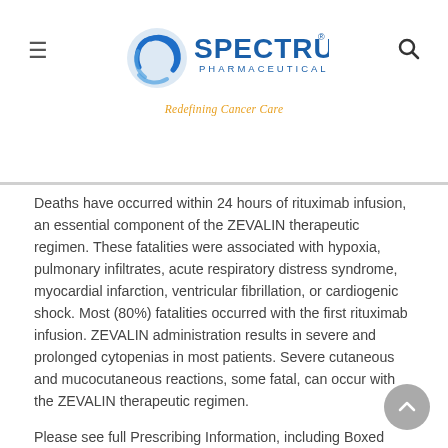SPECTRUM PHARMACEUTICALS — Redefining Cancer Care
Deaths have occurred within 24 hours of rituximab infusion, an essential component of the ZEVALIN therapeutic regimen. These fatalities were associated with hypoxia, pulmonary infiltrates, acute respiratory distress syndrome, myocardial infarction, ventricular fibrillation, or cardiogenic shock. Most (80%) fatalities occurred with the first rituximab infusion. ZEVALIN administration results in severe and prolonged cytopenias in most patients. Severe cutaneous and mucocutaneous reactions, some fatal, can occur with the ZEVALIN therapeutic regimen.
Please see full Prescribing Information, including Boxed WARNINGS, for ZEVALIN and rituximab.
About FUSILEV(TM) (levoleucovorin) for Injection